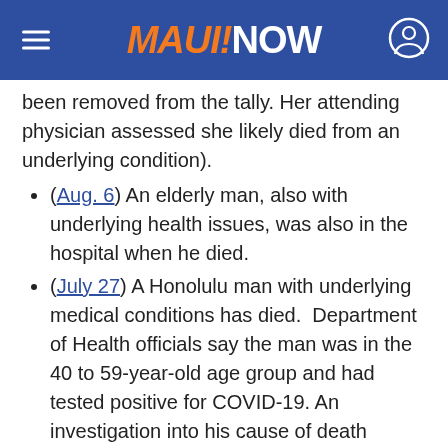MAUI!NOW
been removed from the tally. Her attending physician assessed she likely died from an underlying condition).
(Aug. 6) An elderly man, also with underlying health issues, was also in the hospital when he died.
(July 27) A Honolulu man with underlying medical conditions has died. Department of Health officials say the man was in the 40 to 59-year-old age group and had tested positive for COVID-19. An investigation into his cause of death continues, and it is recorded as the 27th COVID-19 death in Hawaiʻi since the beginning of the pandemic.
(July 23) State officials extended condolences to the family and friends of the 26th person